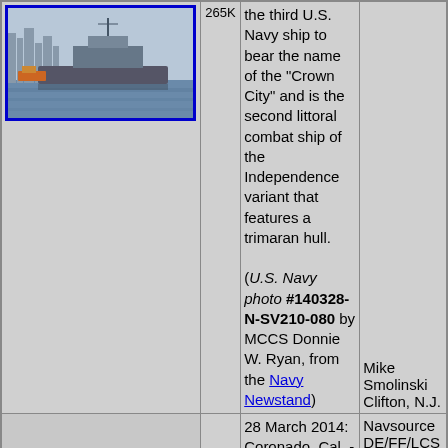[Figure (photo): U.S. Navy littoral combat ship on water with city skyline in background]
265K
...the third U.S. Navy ship to bear the name of the "Crown City" and is the second littoral combat ship of the Independence variant that features a trimaran hull.

(U.S. Navy photo #140328-N-SV210-080 by MCCS Donnie W. Ryan, from the Navy Newstand)
Mike Smolinski
Clifton, N.J.
28 March 2014: Coronado, Cal. - The Navy's newest littoral combat ship Pre-
Navsource DE/FF/LCS Archive Manager